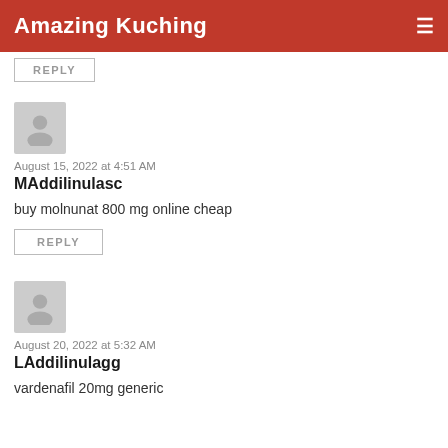Amazing Kuching
August 15, 2022 at 4:51 AM
MAddilinulasc
buy molnunat 800 mg online cheap
REPLY
August 20, 2022 at 5:32 AM
LAddilinulagg
vardenafil 20mg generic